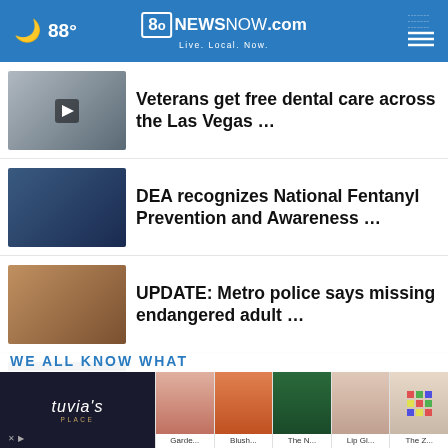88° 8NewsNow.com Live. Local. Now.
Veterans get free dental care across the Las Vegas …
DEA recognizes National Fentanyl Prevention and Awareness …
UPDATE: Metro police says missing endangered adult …
Family of North Las Vegas teen who was shot and killed …
More Stories >
[Figure (screenshot): Advertisement banner featuring Tuvia's Place logo and product thumbnails: Garde..., Blush..., The N..., Lip Gl..., The Z...]
WE ALL KNOW WHAT